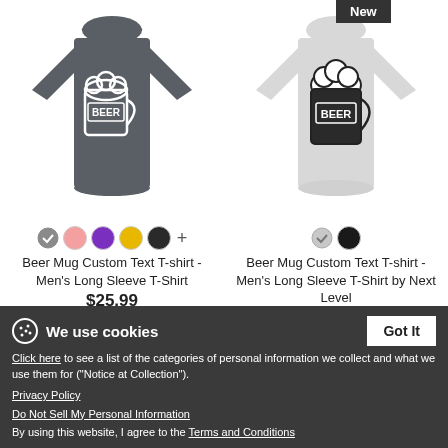[Figure (photo): Dark gray long sleeve t-shirt with Beer Mug graphic]
[Figure (photo): Light gray long sleeve t-shirt with Beer Mug graphic, labeled New]
Beer Mug Custom Text T-shirt - Men's Long Sleeve T-Shirt
$25.99
Beer Mug Custom Text T-shirt - Men's Long Sleeve T-Shirt by Next Level
$26.99
We use cookies
Click here to see a list of the categories of personal information we collect and what we use them for ("Notice at Collection").
Privacy Policy
Do Not Sell My Personal Information
By using this website, I agree to the Terms and Conditions